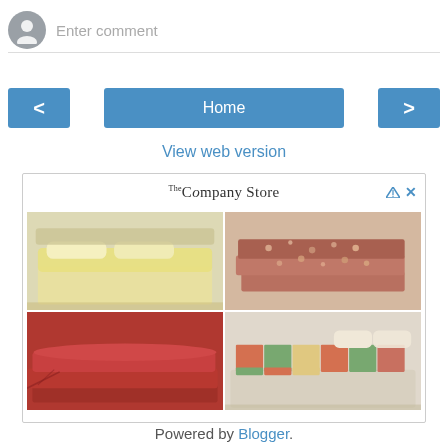[Figure (screenshot): User avatar icon (grey circle with person silhouette) next to 'Enter comment' placeholder text input field with bottom border]
[Figure (screenshot): Navigation row with left chevron button, Home button (center), and right chevron button — all in blue]
View web version
[Figure (screenshot): Advertisement box from The Company Store showing four bedding product images in a 2x2 grid — yellow bed cover, floral folded sheets, red folded sheets, patchwork quilt — with ad controls (triangle and X) in top right]
Powered by Blogger.